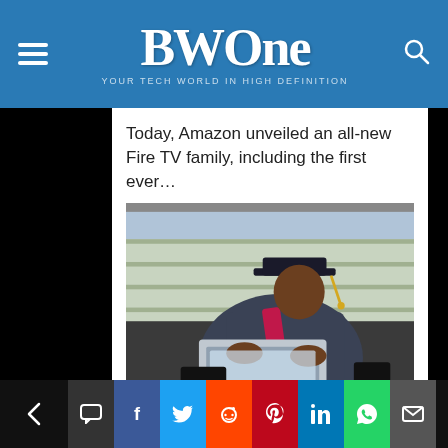BWOne — YOUR TECH WORLD IN HIGH DEFINITION
Today, Amazon unveiled an all-new Fire TV family, including the first ever…
[Figure (photo): A Black man wearing a graduation cap and gown with a red sash, typing on a laptop outdoors]
TECH
COMCAST EXPANDS IE PROGRAM + PLEDGES TO DONATE 25K LAPTOPS
Navigation and social sharing buttons: previous, comment, Facebook, Twitter, Reddit, Pinterest, LinkedIn, WhatsApp, email, next